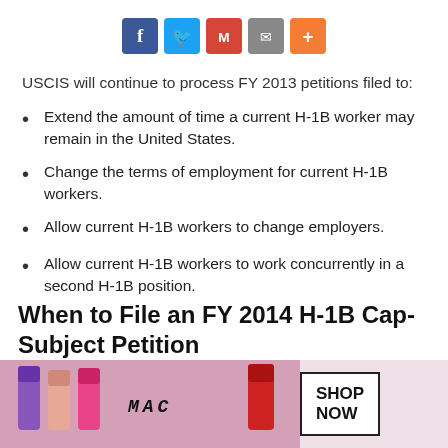[Figure (screenshot): Social media share buttons: Facebook (blue), Twitter (light blue), Gmail (red), Email (gray), Plus/More (orange)]
USCIS will continue to process FY 2013 petitions filed to:
Extend the amount of time a current H-1B worker may remain in the United States.
Change the terms of employment for current H-1B workers.
Allow current H-1B workers to change employers.
Allow current H-1B workers to work concurrently in a second H-1B position.
When to File an FY 2014 H-1B Cap-Subject Petition
We will begin accepting H-1B petitions that are subject to the FY 2014 cap on April 1, 2013. You may file an [CLOSE] petition no more [ad overlay] start date.
[Figure (screenshot): MAC cosmetics advertisement banner with lipstick products and SHOP NOW button, with CLOSE button overlay]